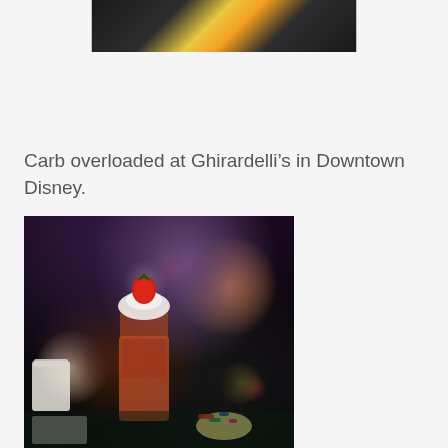[Figure (photo): Partial top view of a colorful photo, likely from an indoor venue with decorative ceiling, cropped at the top of the page]
Carb overloaded at Ghirardelli’s in Downtown Disney.
[Figure (photo): Dark restaurant interior photo showing a large Ghirardelli ice cream sundae in a tall glass topped with whipped cream, a strawberry, and chocolate sauce, on a restaurant table with cups and utensils visible, and patrons in the background]